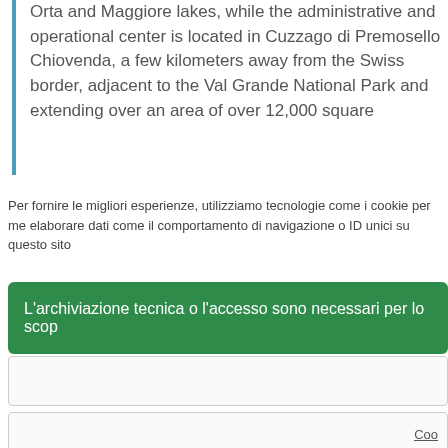Orta and Maggiore lakes, while the administrative and operational center is located in Cuzzago di Premosello Chiovenda, a few kilometers away from the Swiss border, adjacent to the Val Grande National Park and extending over an area of over 12,000 square
Per fornire le migliori esperienze, utilizziamo tecnologie come i cookie per me elaborare dati come il comportamento di navigazione o ID unici su questo sito
L'archiviazione tecnica o l'accesso sono necessari per lo scop
Coo